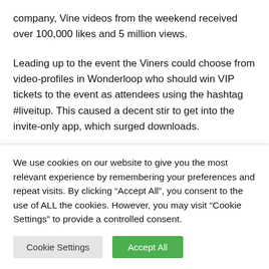company, Vine videos from the weekend received over 100,000 likes and 5 million views.
Leading up to the event the Viners could choose from video-profiles in Wonderloop who should win VIP tickets to the event as attendees using the hashtag #liveitup. This caused a decent stir to get into the invite-only app, which surged downloads.
“We are basically blowing our pre-seed round on one big stunt
We use cookies on our website to give you the most relevant experience by remembering your preferences and repeat visits. By clicking “Accept All”, you consent to the use of ALL the cookies. However, you may visit “Cookie Settings” to provide a controlled consent.
Cookie Settings | Accept All